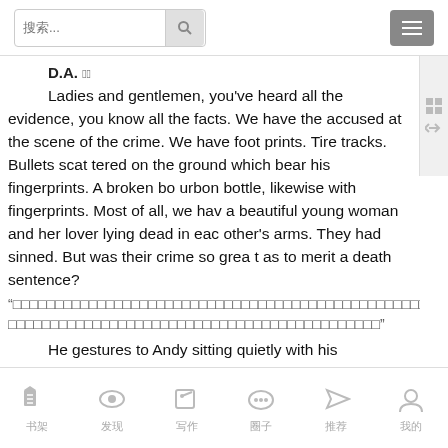Search bar and menu
D.A. (continued label in CJK)
Ladies and gentlemen, you've heard all the evidence, you know all the facts. We have the accused at the scene of the crime. We have foot prints. Tire tracks. Bullets scattered on the ground which bear his fingerprints. A broken bourbon bottle, likewise with fingerprints. Most of all, we have a beautiful young woman and her lover lying dead in each other's arms. They had sinned. But was their crime so great as to merit a death sentence?
“[CJK quoted text]”
He gestures to Andy sitting quietly with his ATTORNEY.
[CJK stage direction]
D.A. [CJK label]
[partial text cut off]
Bottom navigation bar